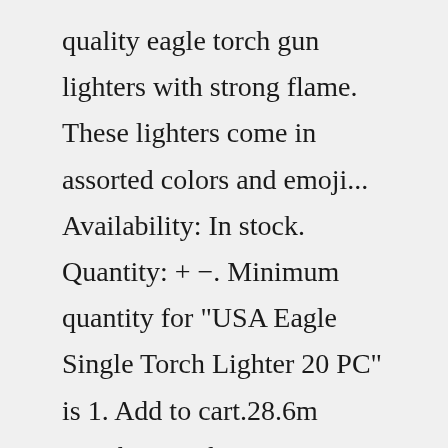quality eagle torch gun lighters with strong flame. These lighters come in assorted colors and emoji... Availability: In stock. Quantity: + −. Minimum quantity for "USA Eagle Single Torch Lighter 20 PC" is 1. Add to cart.28.6m members in the pics community. A place for pictures and photographs.BIC Logo Lighter Digital Sleeve. Item: 61274. 1200 starting at. $2614.32/$2.18 each. No user rating. 1 color Available. Save Compare. A large